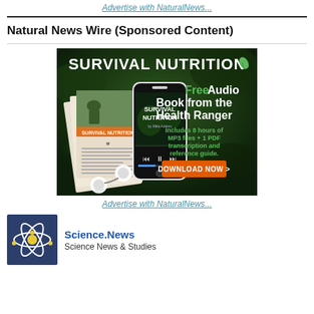Advertise with NaturalNews...
Natural News Wire (Sponsored Content)
[Figure (illustration): Survival Nutrition advertisement banner showing a smartphone with audio book interface, printed magazine pages, earbuds, and text: 'SURVIVAL NUTRITION', 'Free Audio Book from the Health Ranger', 'Includes 8 hours of MP3 files + 1 PDF transcription and reference guide.', 'DOWNLOAD NOW >']
Advertise with NaturalNews...
Science.News
Science News & Studies